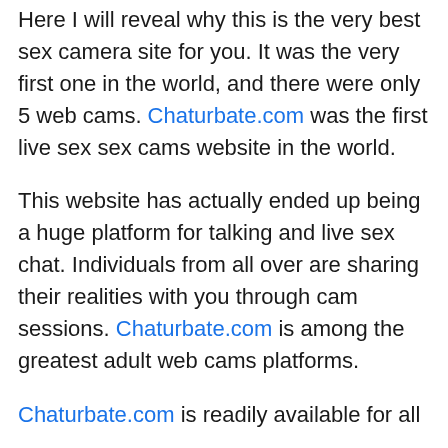Here I will reveal why this is the very best sex camera site for you. It was the very first one in the world, and there were only 5 web cams. Chaturbate.com was the first live sex sex cams website in the world.
This website has actually ended up being a huge platform for talking and live sex chat. Individuals from all over are sharing their realities with you through cam sessions. Chaturbate.com is among the greatest adult web cams platforms.
Chaturbate.com is readily available for all